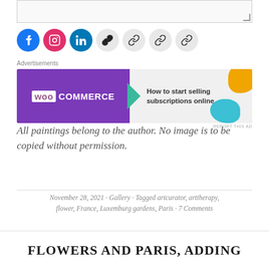[Figure (screenshot): Textarea input box with resize handle in bottom-right corner]
[Figure (infographic): Social media icons row: Facebook (blue), Instagram (pink), LinkedIn (blue), followed by four chain/link icons on grey circles]
[Figure (infographic): WooCommerce advertisement banner: purple left side with WooCommerce logo, green arrow, grey right side with text 'How to start selling subscriptions online', orange and teal decorative blobs. Label 'Advertisements' above, 'REPORT THIS AD' below right.]
All paintings belong to the author. No image is to be copied without permission.
November 28, 2021 · Gallery · Tagged artcurator, arttherapy, flower, France, Luxemburg gardens, Paris · 7 Comments
FLOWERS AND PARIS, ADDING